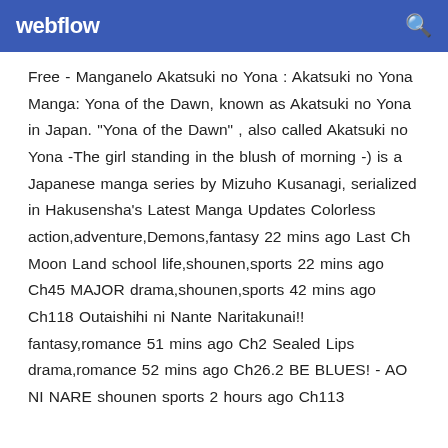webflow
Free - Manganelo Akatsuki no Yona : Akatsuki no Yona Manga: Yona of the Dawn, known as Akatsuki no Yona in Japan. "Yona of the Dawn" , also called Akatsuki no Yona -The girl standing in the blush of morning -) is a Japanese manga series by Mizuho Kusanagi, serialized in Hakusensha's Latest Manga Updates Colorless action,adventure,Demons,fantasy 22 mins ago Last Ch Moon Land school life,shounen,sports 22 mins ago Ch45 MAJOR drama,shounen,sports 42 mins ago Ch118 Outaishihi ni Nante Naritakunai!! fantasy,romance 51 mins ago Ch2 Sealed Lips drama,romance 52 mins ago Ch26.2 BE BLUES! - AO NI NARE shounen sports 2 hours ago Ch113